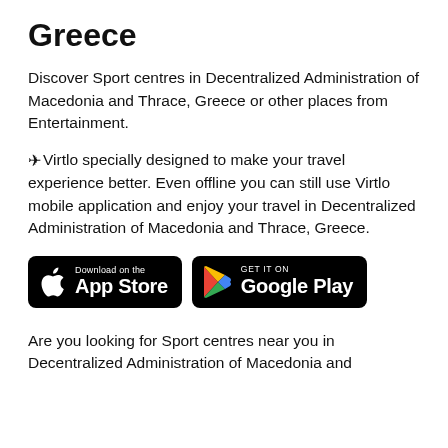Greece
Discover Sport centres in Decentralized Administration of Macedonia and Thrace, Greece or other places from Entertainment.
✈ Virtlo specially designed to make your travel experience better. Even offline you can still use Virtlo mobile application and enjoy your travel in Decentralized Administration of Macedonia and Thrace, Greece.
[Figure (other): Download on the App Store and GET IT ON Google Play badges]
Are you looking for Sport centres near you in Decentralized Administration of Macedonia and